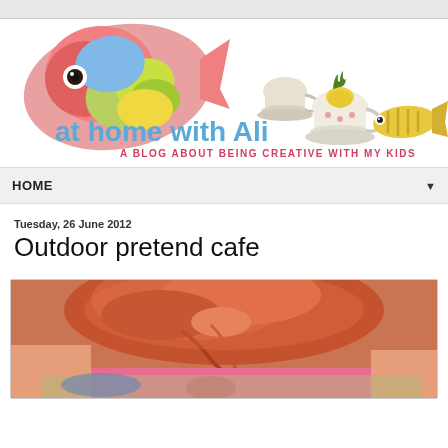[Figure (illustration): Blog header with colorful illustrated fish on the left, teacups and a small pineapple in the center, and a striped fish on the right. Text reads 'at home with Ali' in blue and 'A BLOG ABOUT BEING CREATIVE WITH MY KIDS' in pink/red letters.]
HOME ▼
Tuesday, 26 June 2012
Outdoor pretend cafe
[Figure (photo): Close-up photo of a young girl with red/auburn hair wearing a pink top, leaning over something, viewed from above and behind.]